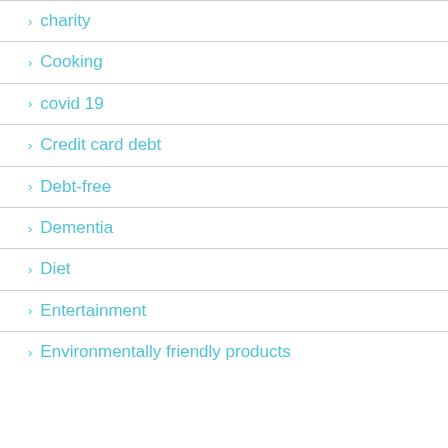charity
Cooking
covid 19
Credit card debt
Debt-free
Dementia
Diet
Entertainment
Environmentally friendly products